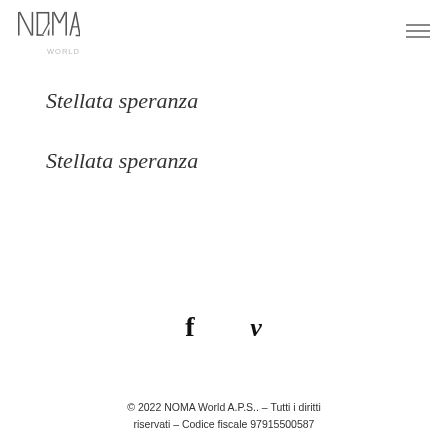NOMA
Stellata speranza
Stellata speranza
[Figure (other): Social media icons: Facebook (f) and Vimeo (v)]
© 2022 NOMA World A.P.S.. – Tutti i diritti riservati – Codice fiscale 97915500587